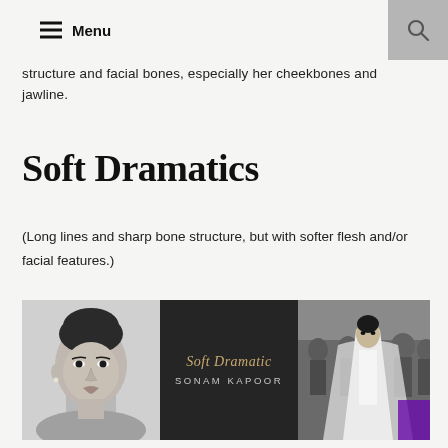Menu
structure and facial bones, especially her cheekbones and jawline.
Soft Dramatics
(Long lines and sharp bone structure, but with softer flesh and/or facial features.)
[Figure (photo): Three-panel image: left panel is a black-and-white portrait of a woman with hair up; center panel is a dark card reading 'Soft Dramatic SONAM KAPOOR'; right panel shows a woman in a white gown at what appears to be a red carpet event.]